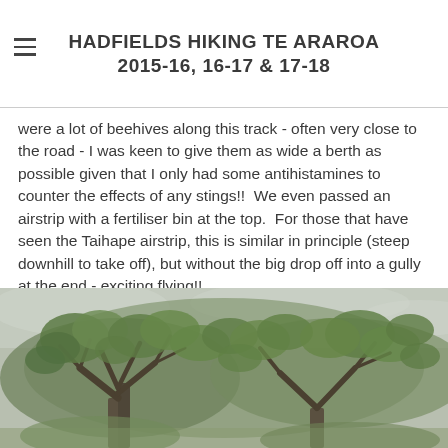HADFIELDS HIKING TE ARAROA 2015-16, 16-17 & 17-18
were a lot of beehives along this track - often very close to the road - I was keen to give them as wide a berth as possible given that I only had some antihistamines to counter the effects of any stings!!  We even passed an airstrip with a fertiliser bin at the top.  For those that have seen the Taihape airstrip, this is similar in principle (steep downhill to take off), but without the big drop off into a gully at the end - exciting flying!!
[Figure (photo): Photograph of tree canopy with leafy branches against an overcast sky, taken from below looking upward and outward]